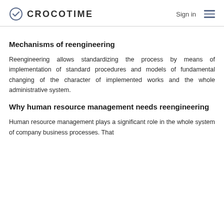CROCOTIME  Sign in
Mechanisms of reengineering
Reengineering allows standardizing the process by means of implementation of standard procedures and models of fundamental changing of the character of implemented works and the whole administrative system.
Why human resource management needs reengineering
Human resource management plays a significant role in the whole system of company business processes. That